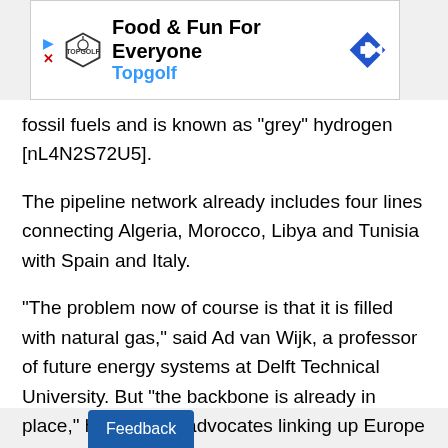[Figure (other): Advertisement banner for Topgolf: 'Food & Fun For Everyone / Topgolf' with Topgolf logo, play and close icons, and a blue directional arrow icon.]
fossil fuels and is known as "grey" hydrogen [nL4N2S72U5].
The pipeline network already includes four lines connecting Algeria, Morocco, Libya and Tunisia with Spain and Italy.
"The problem now of course is that it is filled with natural gas," said Ad van Wijk, a professor of future energy systems at Delft Technical University. But "the backbone is already in place," he said. He advocates linking up Europe and Africa to run Europe's energy system on 50% renewable energy and 50% green hydrogen